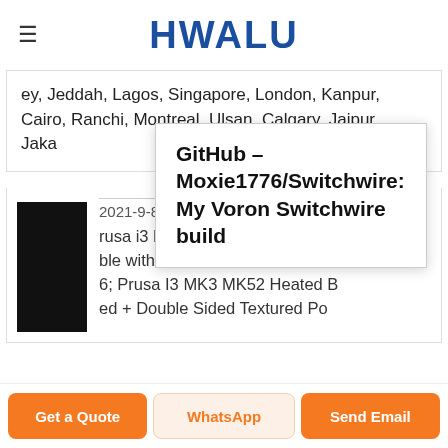HWALU
ey, Jeddah, Lagos, Singapore, London, Kanpur, Cairo, Ranchi, Montreal, Ulsan, Calgary, Jaipur, Jaka
GitHub - Moxie1776/Switchwire: My Voron Switchwire build
2021-9-8 · Panels/Build Plate. Prusa i3 MK3S Y carriage compatible with Voron Switchwire $31.96; Prusa I3 MK3 MK52 Heated Bed + Double Sided Textured Po
Get a Quote | WhatsApp | Send Email